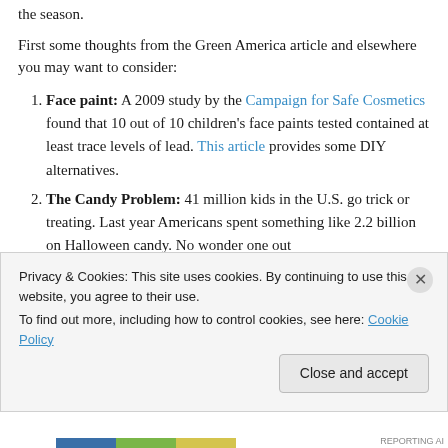the season.
First some thoughts from the Green America article and elsewhere you may want to consider:
Face paint: A 2009 study by the Campaign for Safe Cosmetics found that 10 out of 10 children’s face paints tested contained at least trace levels of lead. This article provides some DIY alternatives.
The Candy Problem: 41 million kids in the U.S. go trick or treating. Last year Americans spent something like 2.2 billion on Halloween candy. No wonder one out
Privacy & Cookies: This site uses cookies. By continuing to use this website, you agree to their use.
To find out more, including how to control cookies, see here: Cookie Policy
Close and accept